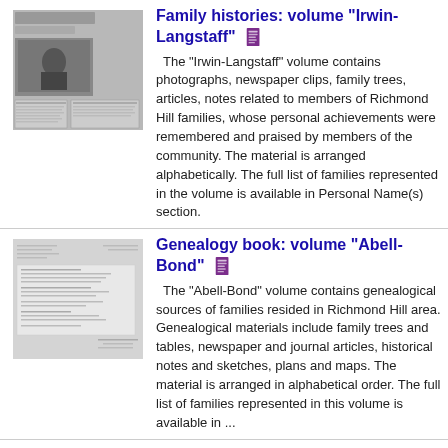[Figure (photo): Thumbnail showing newspaper clippings and photographs for Irwin-Langstaff family history volume]
Family histories: volume "Irwin-Langstaff"
The "Irwin-Langstaff" volume contains photographs, newspaper clips, family trees, articles, notes related to members of Richmond Hill families, whose personal achievements were remembered and praised by members of the community. The material is arranged alphabetically. The full list of families represented in the volume is available in Personal Name(s) section.
[Figure (photo): Thumbnail showing handwritten genealogical notes for Abell-Bond volume]
Genealogy book: volume "Abell-Bond"
The "Abell-Bond" volume contains genealogical sources of families resided in Richmond Hill area. Genealogical materials include family trees and tables, newspaper and journal articles, historical notes and sketches, plans and maps. The material is arranged in alphabetical order. The full list of families represented in this volume is available in ...
[Figure (photo): Thumbnail showing handwritten genealogical notes for Baker-Byer volume]
Genealogy book: volume "Baker-Byer"
The "Baker-Byer" volume contains genealogical sources of families resided in Richmond Hill area. Genealogical materials include family trees and tables, newspaper and journal articles, historical notes and sketches, plans and maps. The material is arranged in alphabetical order. The full list of families represented